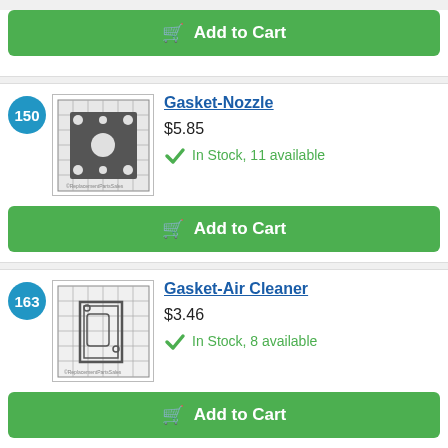Add to Cart
150 Gasket-Nozzle $5.85 In Stock, 11 available
Add to Cart
163 Gasket-Air Cleaner $3.46 In Stock, 8 available
Add to Cart